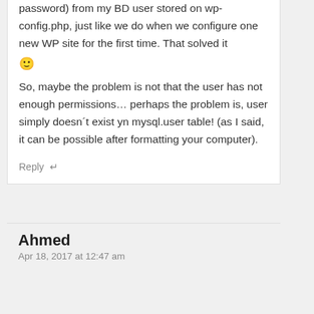password) from my BD user stored on wp-config.php, just like we do when we configure one new WP site for the first time. That solved it 🙂
So, maybe the problem is not that the user has not enough permissions… perhaps the problem is, user simply doesn´t exist yn mysql.user table! (as I said, it can be possible after formatting your computer).
Reply ↵
Ahmed
Apr 18, 2017 at 12:47 am